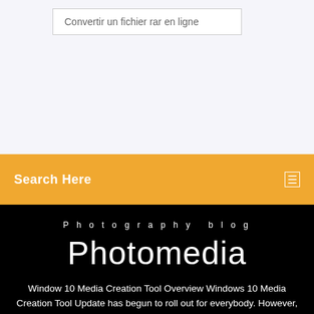Convertir un fichier rar en ligne
Search Here
Photography blog
Photomedia
Window 10 Media Creation Tool Overview Windows 10 Media Creation Tool Update has begun to roll out for everybody. However, as antecedently reportable the update